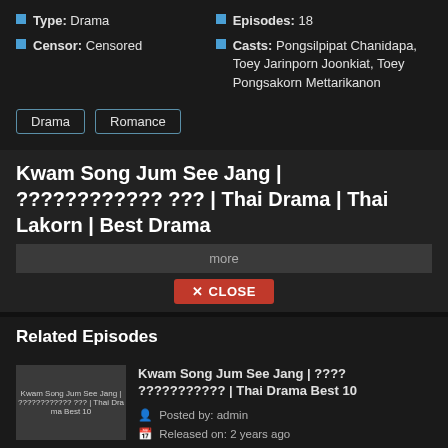Type: Drama
Censor: Censored
Episodes: 18
Casts: Pongsilpipat Chanidapa, Toey Jarinporn Joonkiat, Toey Pongsakorn Mettarikanon
Drama
Romance
Kwam Song Jum See Jang | ???????????? ??? | Thai Drama | Thai Lakorn | Best Drama
more
✕ CLOSE
Related Episodes
Kwam Song Jum See Jang | ???? ??????????? | Thai Drama Best 10
Posted by: admin
Released on: 2 years ago
Kwam Song Jum See Jang | ????